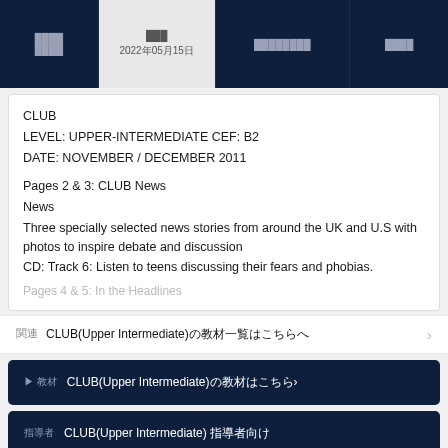Navigation bar with columns: ████ | ███ 2022年05月15日 | ████████ | ████
CLUB
LEVEL: UPPER-INTERMEDIATE CEF: B2
DATE: NOVEMBER / DECEMBER 2011

Pages 2 & 3: CLUB News
News
Three specially selected news stories from around the UK and U.S with photos to inspire debate and discussion
CD: Track 6: Listen to teens discussing their fears and phobias.

Pages 4 & 5: In the Headlines
関連　CLUB(Upper Intermediate)の教材一覧はこちらへ
▶ 教材　CLUB(Upper Intermediate)の教材はこちら›
指導者　CLUB(Upper Intermediate) 指導者向け